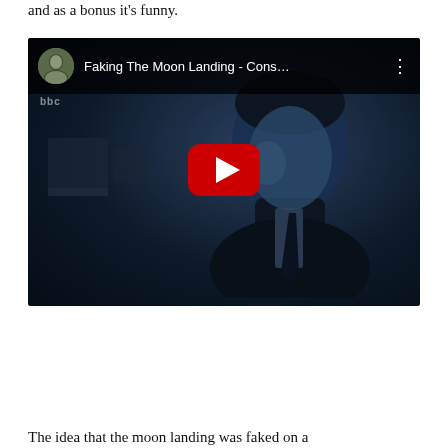and as a bonus it's funny.
[Figure (screenshot): YouTube video embed showing 'Faking The Moon Landing - Cons...' with a YouTube play button overlay. The video thumbnail shows a man in a dark suit in a blue-tinted scene. The video bar shows a circular avatar photo of a person and three-dot menu. A BBC watermark is visible.]
The idea that the moon landing was faked on a